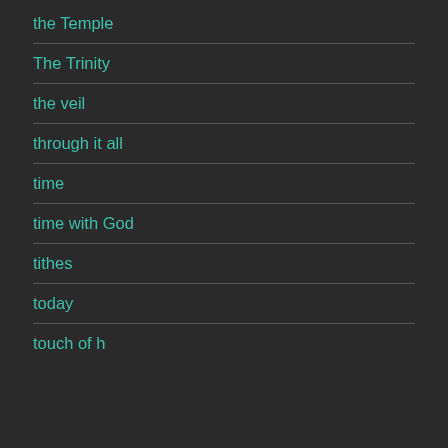the Temple
The Trinity
the veil
through it all
time
time with God
tithes
today
touch of h…